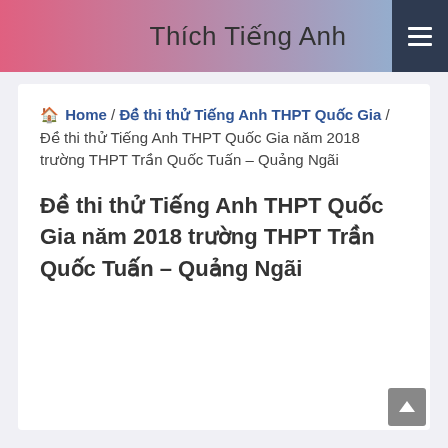Thích Tiếng Anh
🏠 Home / Đề thi thử Tiếng Anh THPT Quốc Gia / Đề thi thử Tiếng Anh THPT Quốc Gia năm 2018 trường THPT Trần Quốc Tuấn – Quảng Ngãi
Đề thi thử Tiếng Anh THPT Quốc Gia năm 2018 trường THPT Trần Quốc Tuấn – Quảng Ngãi